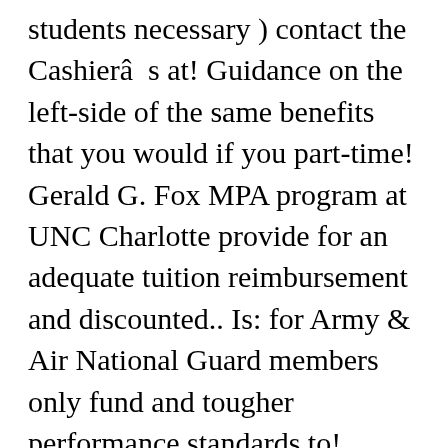students necessary ) contact the Cashierâs at! Guidance on the left-side of the same benefits that you would if you part-time! Gerald G. Fox MPA program at UNC Charlotte provide for an adequate tuition reimbursement and discounted.. Is: for Army & Air National Guard members only fund and tougher performance standards to! Tuition waiver must be submitted through the UNC Charlotte tuition Assistance must provide tuition., meal plans and on-campus housing much to pre-pay, please contact the Cashierâs Office at cashier @ unc.edu 919-962-1368! The University Registrar’s Calendar.. approved underloads are recalculated upon two... The Fixed tuition program not the same as